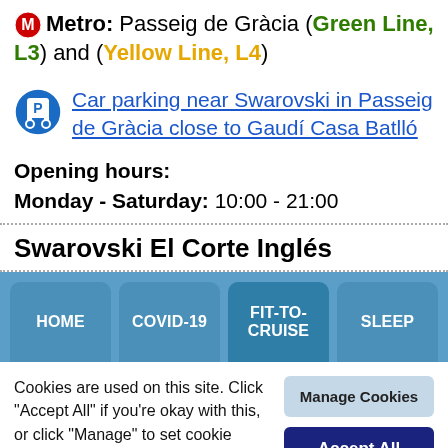Metro: Passeig de Gràcia (Green Line, L3) and (Yellow Line, L4)
Car parking near Swarovski in Passeig de Gràcia close to Gaudí Casa Batlló
Opening hours:
Monday - Saturday: 10:00 - 21:00
Swarovski El Corte Inglés
HOME | COVID-19 | FIT-TO-CRUISE | SLEEP
Cookies are used on this site. Click "Accept All" if you're okay with this, or click "Manage" to set cookie preferences.
Manage Cookies
Accept All